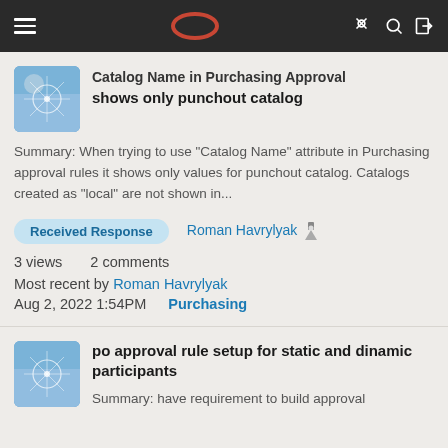Oracle Community navigation bar
Catalog Name in Purchasing Approval shows only punchout catalog
Summary: When trying to use "Catalog Name" attribute in Purchasing approval rules it shows only values for punchout catalog. Catalogs created as "local" are not shown in...
Received Response   Roman Havrylyak
3 views   2 comments
Most recent by Roman Havrylyak
Aug 2, 2022 1:54PM   Purchasing
po approval rule setup for static and dinamic participants
Summary: have requirement to build approval